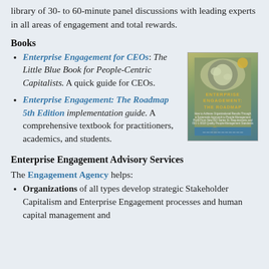library of 30- to 60-minute panel discussions with leading experts in all areas of engagement and total rewards.
Books
Enterprise Engagement for CEOs: The Little Blue Book for People-Centric Capitalists. A quick guide for CEOs.
Enterprise Engagement: The Roadmap 5th Edition implementation guide. A comprehensive textbook for practitioners, academics, and students.
[Figure (photo): Book cover of Enterprise Engagement: The Roadmap, showing a globe image at the top, gold title text, subtitle text, and a blue bar at the bottom.]
Enterprise Engagement Advisory Services
The Engagement Agency helps:
Organizations of all types develop strategic Stakeholder Capitalism and Enterprise Engagement processes and human capital management and